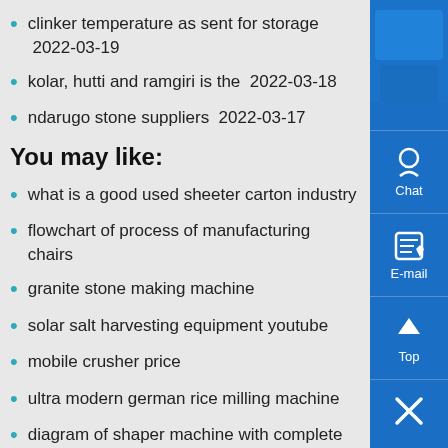clinker temperature as sent for storage  2022-03-19
kolar, hutti and ramgiri is the  2022-03-18
ndarugo stone suppliers  2022-03-17
You may like:
what is a good used sheeter carton industry
flowchart of process of manufacturing chairs
granite stone making machine
solar salt harvesting equipment youtube
mobile crusher price
ultra modern german rice milling machine
diagram of shaper machine with complete labeling
instent riches goldmine slots
environmental impact of graphite mining en